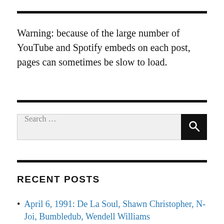Warning: because of the large number of YouTube and Spotify embeds on each post, pages can sometimes be slow to load.
Search …
RECENT POSTS
April 6, 1991: De La Soul, Shawn Christopher, N-Joi, Bumbledub, Wendell Williams